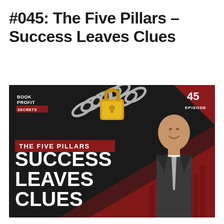#045: The Five Pillars – Success Leaves Clues
[Figure (illustration): Podcast episode thumbnail for 'Book Profit Secrets' Episode 45. Dark background with a padlock and chain at the top center. Left side shows bold white text reading 'SUCCESS LEAVES CLUES' with a dark red banner above reading 'THE FIVE PILLARS'. Top left has the 'BOOK PROFIT SECRETS' logo. Top right corner has a red triangle with '45 EPISODE'. Right side shows a man in a dark suit smiling, with a city skyline visible in red tones behind him.]